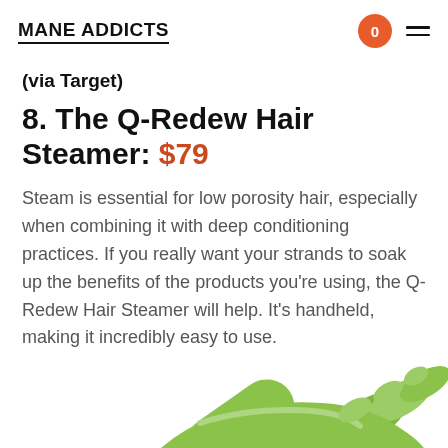MANE ADDICTS
(via Target)
8. The Q-Redew Hair Steamer: $79
Steam is essential for low porosity hair, especially when combining it with deep conditioning practices. If you really want your strands to soak up the benefits of the products you’re using, the Q-Redew Hair Steamer will help. It’s handheld, making it incredibly easy to use.
[Figure (photo): Partial image of a green handheld Q-Redew Hair Steamer device, shown from below, with green hand grip visible.]